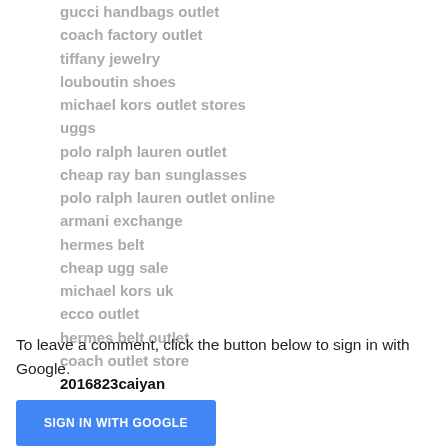gucci handbags outlet
coach factory outlet
tiffany jewelry
louboutin shoes
michael kors outlet stores
uggs
polo ralph lauren outlet
cheap ray ban sunglasses
polo ralph lauren outlet online
armani exchange
hermes belt
cheap ugg sale
michael kors uk
ecco outlet
hermes belt outlet
coach outlet store
2016823caiyan
Reply
To leave a comment, click the button below to sign in with Google.
SIGN IN WITH GOOGLE